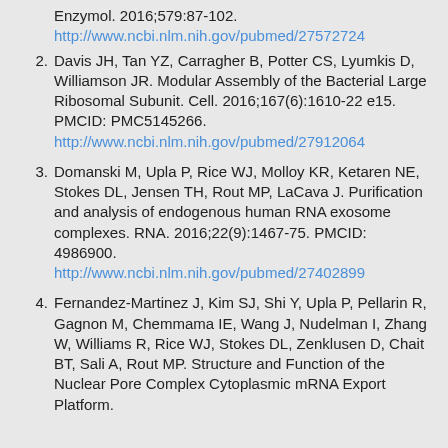Enzymol. 2016;579:87-102. http://www.ncbi.nlm.nih.gov/pubmed/27572724
2. Davis JH, Tan YZ, Carragher B, Potter CS, Lyumkis D, Williamson JR. Modular Assembly of the Bacterial Large Ribosomal Subunit. Cell. 2016;167(6):1610-22 e15. PMCID: PMC5145266. http://www.ncbi.nlm.nih.gov/pubmed/27912064
3. Domanski M, Upla P, Rice WJ, Molloy KR, Ketaren NE, Stokes DL, Jensen TH, Rout MP, LaCava J. Purification and analysis of endogenous human RNA exosome complexes. RNA. 2016;22(9):1467-75. PMCID: 4986900. http://www.ncbi.nlm.nih.gov/pubmed/27402899
4. Fernandez-Martinez J, Kim SJ, Shi Y, Upla P, Pellarin R, Gagnon M, Chemmama IE, Wang J, Nudelman I, Zhang W, Williams R, Rice WJ, Stokes DL, Zenklusen D, Chait BT, Sali A, Rout MP. Structure and Function of the Nuclear Pore Complex Cytoplasmic mRNA Export Platform.